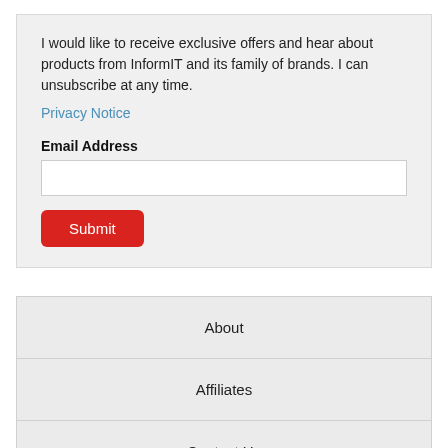I would like to receive exclusive offers and hear about products from InformIT and its family of brands. I can unsubscribe at any time.
Privacy Notice
Email Address
Submit
About
Affiliates
Contact Us
FA...